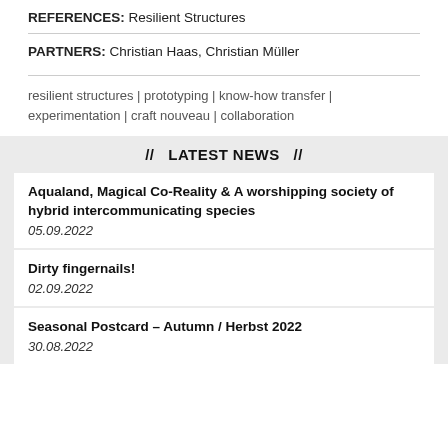REFERENCES: Resilient Structures
PARTNERS: Christian Haas, Christian Müller
resilient structures | prototyping | know-how transfer | experimentation | craft nouveau | collaboration
// LATEST NEWS //
Aqualand, Magical Co-Reality & A worshipping society of hybrid intercommunicating species
05.09.2022
Dirty fingernails!
02.09.2022
Seasonal Postcard – Autumn / Herbst 2022
30.08.2022